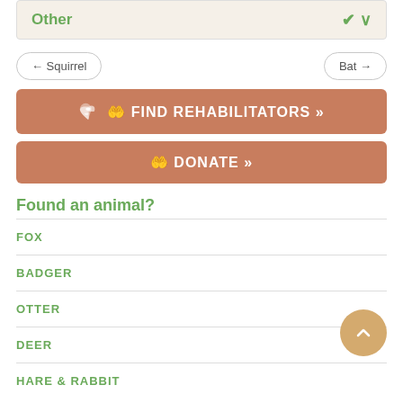Other
← Squirrel
Bat →
🤲 FIND REHABILITATORS »
🤲 DONATE »
Found an animal?
FOX
BADGER
OTTER
DEER
HARE & RABBIT